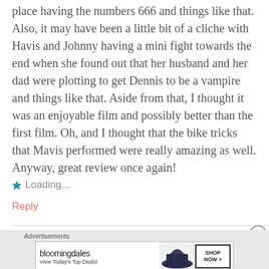place having the numbers 666 and things like that. Also, it may have been a little bit of a cliche with Havis and Johnny having a mini fight towards the end when she found out that her husband and her dad were plotting to get Dennis to be a vampire and things like that. Aside from that, I thought it was an enjoyable film and possibly better than the first film. Oh, and I thought that the bike tricks that Mavis performed were really amazing as well. Anyway, great review once again!
Loading...
Reply
[Figure (screenshot): Bloomingdale's advertisement banner with text 'View Today's Top Deals!' and 'SHOP NOW >' button, and a woman wearing a wide-brim hat]